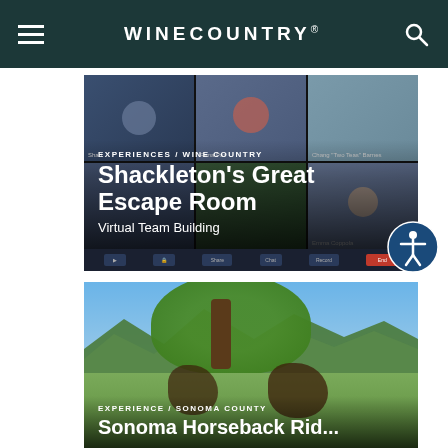WINECOUNTRY®
[Figure (screenshot): Zoom video call screenshot showing multiple participants including people wearing colorful hats, overlaid with text about Shackleton's Great Escape Room]
EXPERIENCES / WINE COUNTRY
Shackleton's Great Escape Room
Virtual Team Building
[Figure (photo): Three people on horseback riding through a scenic area with large trees and mountains in the background]
EXPERIENCE / SONOMA COUNTY